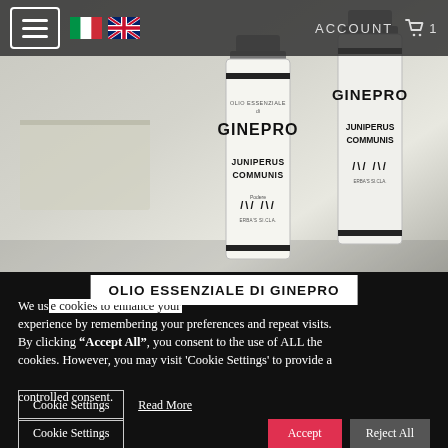ACCOUNT  1
[Figure (photo): Two white glass bottles of Olio Essenziale di Ginepro (Juniperus Communis essential oil) with black label text, photographed on a light gray surface]
OLIO ESSENZIALE DI GINEPRO
We use cookies to enhance your experience by remembering your preferences and repeat visits. By clicking “Accept All”, you consent to the use of ALL the cookies. However, you may visit 'Cookie Settings' to provide a controlled consent.
Cookie Settings   Read More
Cookie Settings   Accept   Reject All